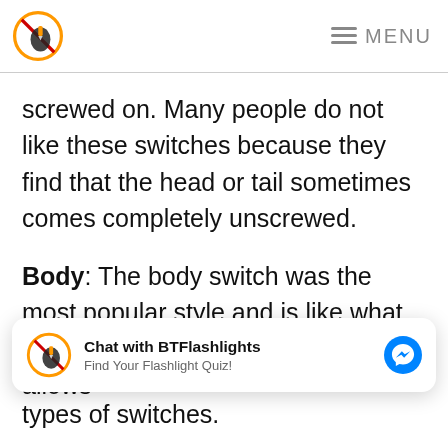BTFlashlights logo | MENU
screwed on. Many people do not like these switches because they find that the head or tail sometimes comes completely unscrewed.
Body: The body switch was the most popular style and is like what you would find on a Mag-lite. It allows
[Figure (other): Chat widget: Chat with BTFlashlights - Find Your Flashlight Quiz! with Messenger icon]
types of switches.